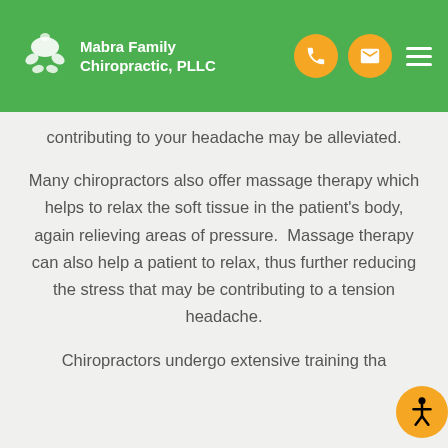Mabra Family Chiropractic, PLLC
contributing to your headache may be alleviated.
Many chiropractors also offer massage therapy which helps to relax the soft tissue in the patient's body, again relieving areas of pressure.  Massage therapy can also help a patient to relax, thus further reducing the stress that may be contributing to a tension headache.
Chiropractors undergo extensive training tha...